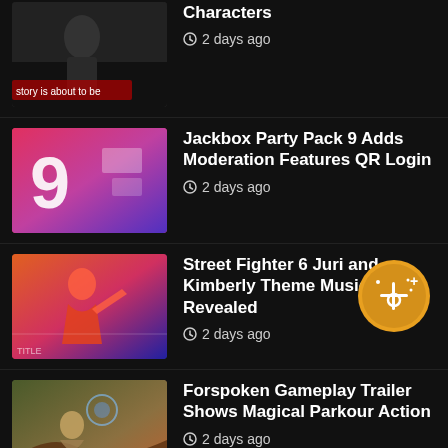Characters
2 days ago
Jackbox Party Pack 9 Adds Moderation Features QR Login
2 days ago
Street Fighter 6 Juri and Kimberly Theme Music Revealed
2 days ago
Forspoken Gameplay Trailer Shows Magical Parkour Action
2 days ago
Eiyuden Chronicle: Hundred Heroes Sho Suikoden Spirit
2 days ago
Wild Arms and Shadow Hearts Creators